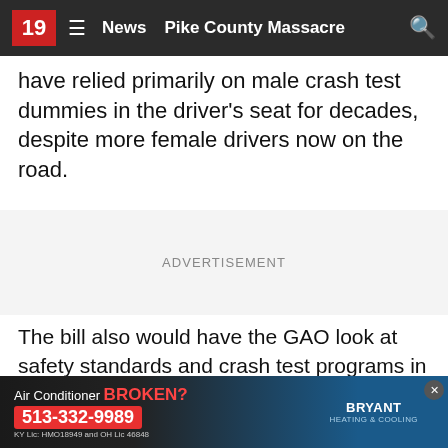19  ≡  News  Pike County Massacre  🔍
have relied primarily on male crash test dummies in the driver's seat for decades, despite more female drivers now on the road.
ADVERTISEMENT
The bill also would have the GAO look at safety standards and crash test programs in other countries, such as Europe, “to evaluate options for strengthening the agency’s vehicle safety testing to reduce gender-based disparities in car crash outcomes.”
Europe techno... ens to